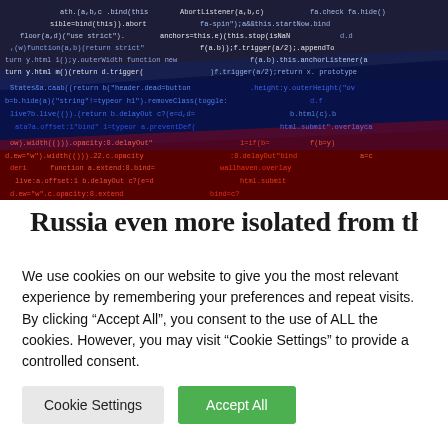[Figure (screenshot): Screenshot of obfuscated JavaScript/code displayed with colored syntax highlighting on a dark background, with colors resembling the Russian flag (white, blue, red) in diagonal bands.]
Russia even more isolated from the
We use cookies on our website to give you the most relevant experience by remembering your preferences and repeat visits. By clicking “Accept All”, you consent to the use of ALL the cookies. However, you may visit "Cookie Settings" to provide a controlled consent.
Cookie Settings  |  Accept All